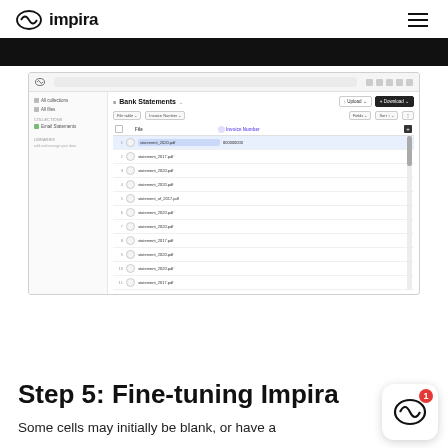impira
[Figure (screenshot): Impira web application screenshot showing a file list/table view with 'Bank Statements' header, sidebar navigation, file rows with filenames like 'statement_2020.pdf' highlighted in blue, and an invoice number field being filled.]
Step 5: Fine-tuning Impira
Some cells may initially be blank, or have a